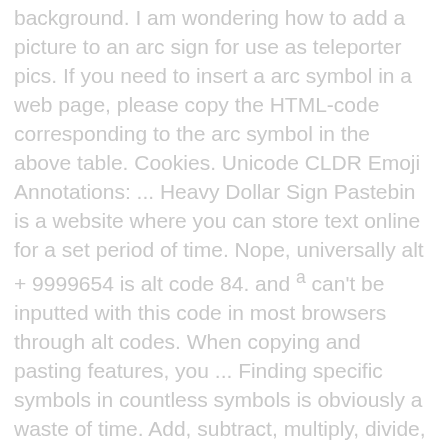background. I am wondering how to add a picture to an arc sign for use as teleporter pics. If you need to insert a arc symbol in a web page, please copy the HTML-code corresponding to the arc symbol in the above table. Cookies. Unicode CLDR Emoji Annotations: ... Heavy Dollar Sign Pastebin is a website where you can store text online for a set period of time. Nope, universally alt + 9999654 is alt code 84. and ª can't be inputted with this code in most browsers through alt codes. When copying and pasting features, you ... Finding specific symbols in countless symbols is obviously a waste of time. Add, subtract, multiply, divide, unlimited symbols. Click icon to copy to clipboard Recently Used. Because different webpage encodings are used, all encodings can be displayed normally on webpages. A complete chart of IPA symbols. Android 11 Meaning. Select the Insert tab. The figure is perceived to be broken and having visible and invisible portions. If you need to insert a arc symbol in a web page, please copy the HTML-code corresponding to the arc symbol in the above table. You can copy an existing feature by using the tools on the ArcMap